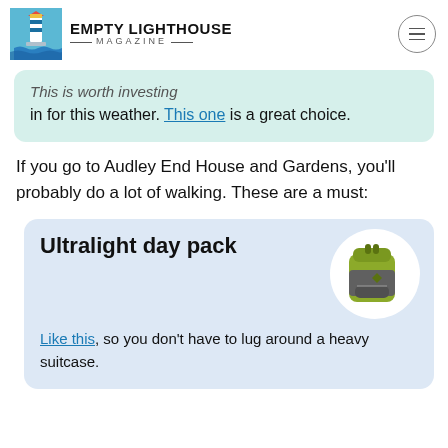EMPTY LIGHTHOUSE MAGAZINE
This is worth investing in for this weather. This one is a great choice.
If you go to Audley End House and Gardens, you'll probably do a lot of walking. These are a must:
Ultralight day pack — Like this, so you don't have to lug around a heavy suitcase.
[Figure (photo): Yellow-green ultralight day backpack on white circular background]